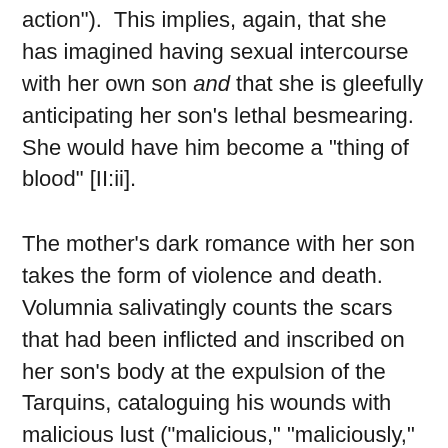action"). This implies, again, that she has imagined having sexual intercourse with her own son and that she is gleefully anticipating her son’s lethal besmearing. She would have him become a “thing of blood” [II:ii].
The mother’s dark romance with her son takes the form of violence and death. Volumnia salivatingly counts the scars that had been inflicted and inscribed on her son’s body at the expulsion of the Tarquins, cataloguing his wounds with malicious lust (“malicious,” “maliciously,” or “malice,” used eleven times in the text, is one of the most signifying words in the play): “There will be large cicatrices to show